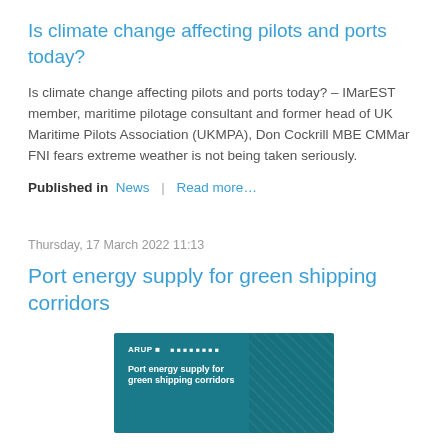Is climate change affecting pilots and ports today?
Is climate change affecting pilots and ports today? – IMarEST member, maritime pilotage consultant and former head of UK Maritime Pilots Association (UKMPA), Don Cockrill MBE CMMar FNI fears extreme weather is not being taken seriously.
Published in  News  |  Read more…
Thursday, 17 March 2022 11:13
Port energy supply for green shipping corridors
[Figure (photo): Cover image of a report titled 'Port energy supply for green shipping corridors' published by ARUP, shown with a teal/blue background and aerial imagery of a port.]